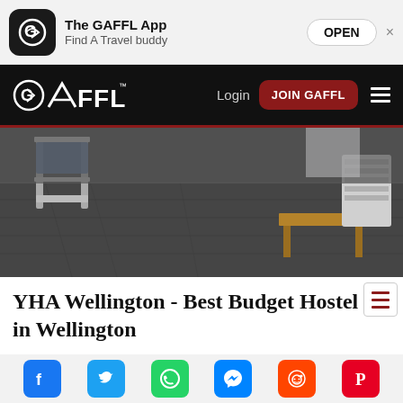[Figure (screenshot): App banner with GAFFL logo, app name 'The GAFFL App', tagline 'Find A Travel buddy', and OPEN button]
[Figure (screenshot): Black navigation bar with GAFFL logo, Login link, JOIN GAFFL button, and hamburger menu]
[Figure (photo): Interior photo of a hostel room showing bunk bed frames on carpet floor with a wooden bench and portable heater]
YHA Wellington - Best Budget Hostel in Wellington
YHA Wellington Hostel is an ideal hostel for backpackers with a tight budget, this hostel has very affordable rates while also offering great
[Figure (screenshot): Social media sharing bar with Facebook, Twitter, WhatsApp, Messenger, Reddit, and Pinterest icons]